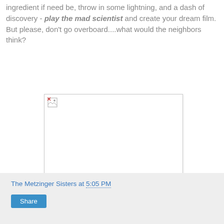ingredient if need be, throw in some lightning, and a dash of discovery - play the mad scientist and create your dream film. But please, don't go overboard....what would the neighbors think?
[Figure (photo): A broken/missing image placeholder with a small broken image icon in the top-left corner, shown inside a light-bordered white rectangle.]
The Metzinger Sisters at 5:05 PM
Share